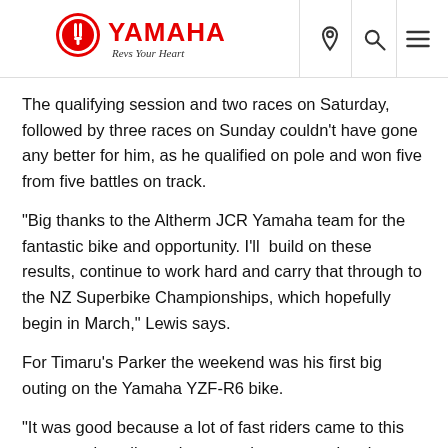YAMAHA Revs Your Heart
The qualifying session and two races on Saturday, followed by three races on Sunday couldn't have gone any better for him, as he qualified on pole and won five from five battles on track.
“Big thanks to the Altherm JCR Yamaha team for the fantastic bike and opportunity. I’ll  build on these results, continue to work hard and carry that through to the NZ Superbike Championships, which hopefully begin in March,” Lewis says.
For Timaru’s Parker the weekend was his first big outing on the Yamaha YZF-R6 bike.
“It was good because a lot of fast riders came to this event, so it really made me push to get my lap times down and achieve my personal best. We did a lot of data work with